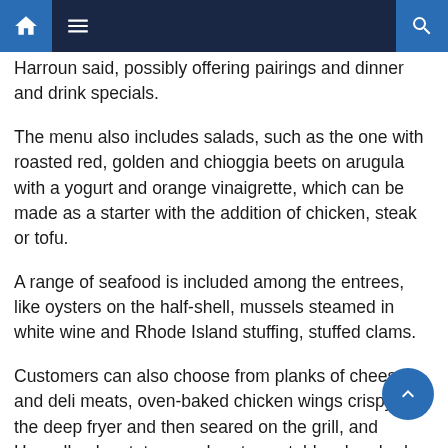[navigation bar with home, menu, and search icons]
Harroun said, possibly offering pairings and dinner and drink specials.
The menu also includes salads, such as the one with roasted red, golden and chioggia beets on arugula with a yogurt and orange vinaigrette, which can be made as a starter with the addition of chicken, steak or tofu.
A range of seafood is included among the entrees, like oysters on the half-shell, mussels steamed in white wine and Rhode Island stuffing, stuffed clams.
Customers can also choose from planks of cheese and deli meats, oven-baked chicken wings crispy in the deep fryer and then seared on the grill, and Hasselback potatoes and root vegetables, brushed with garlic oil and sliced but kept intact, presented on a board.